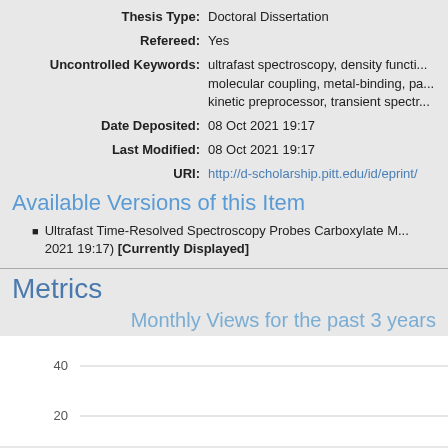Thesis Type: Doctoral Dissertation
Refereed: Yes
Uncontrolled Keywords: ultrafast spectroscopy, density functional theory, molecular coupling, metal-binding, pa... kinetic preprocessor, transient spectr...
Date Deposited: 08 Oct 2021 19:17
Last Modified: 08 Oct 2021 19:17
URI: http://d-scholarship.pitt.edu/id/eprint/...
Available Versions of this Item
Ultrafast Time-Resolved Spectroscopy Probes Carboxylate M... 2021 19:17) [Currently Displayed]
Metrics
Monthly Views for the past 3 years
[Figure (continuous-plot): Bar chart showing monthly views over the past 3 years, with y-axis showing values including 40 and 20 visible as gridlines]